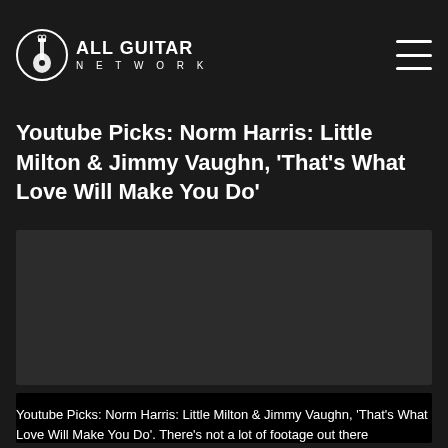ALL GUITAR NETWORK
Youtube Picks: Norm Harris: Little Milton & Jimmy Vaughn, 'That's What Love Will Make You Do'
[Figure (screenshot): Dark video embed area, player background]
[Figure (screenshot): Video player control bar at bottom]
Youtube Picks: Norm Harris: Little Milton & Jimmy Vaughn, 'That's What Love Will Make You Do'. There's not a lot of footage out there